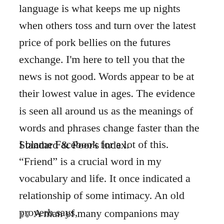language is what keeps me up nights when others toss and turn over the latest price of pork bellies on the futures exchange. I'm here to tell you that the news is not good. Words appear to be at their lowest value in ages. The evidence is seen all around us as the meanings of words and phrases change faster than the Standard & Poor's index.
I blame Facebook for a lot of this. “Friend” is a crucial word in my vocabulary and life. It once indicated a relationship of some intimacy. An old proverb says,
A man of many companions may come to